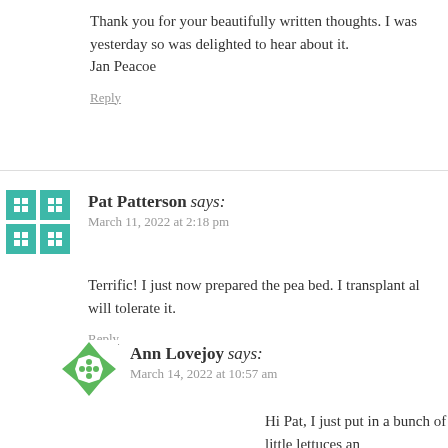Thank you for your beautifully written thoughts. I was yesterday so was delighted to hear about it.
Jan Peacoe
Reply
Pat Patterson says:
March 11, 2022 at 2:18 pm
Terrific! I just now prepared the pea bed. I transplant al will tolerate it.
Reply
Ann Lovejoy says:
March 14, 2022 at 10:57 am
Hi Pat, I just put in a bunch of little lettuces an by a late freeze…